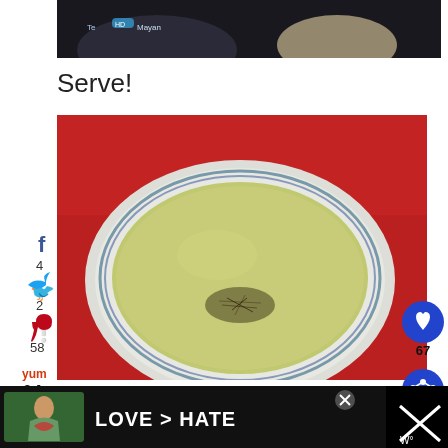[Figure (photo): Top portion of a food photo — dark background with decorative bowl visible at top]
Serve!
[Figure (infographic): Social media share sidebar with Facebook (4), Twitter (2), Pinterest (58), Yummly icons, and 64 SHARES total]
[Figure (photo): Bowl of pale green/yellow cream soup on a red background, garnished with dried herbs in the center]
[Figure (other): Right-side engagement buttons: heart button with count 67, and share button]
[Figure (photo): Bottom advertisement banner: dark background with 'LOVE > HATE' text, person making heart shape with hands, close button, and right panel with X icon]